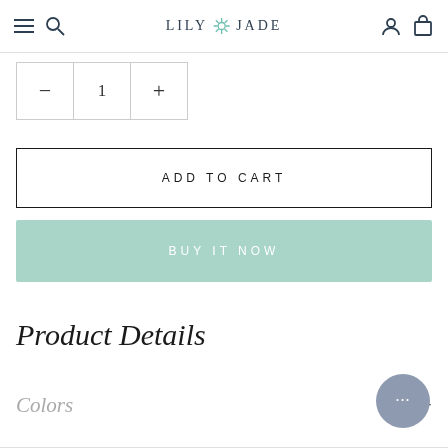LILY JADE — navigation bar with menu, search, account, and cart icons
[Figure (screenshot): Quantity selector with minus button, value of 1, and plus button]
ADD TO CART
BUY IT NOW
Product Details
Colors